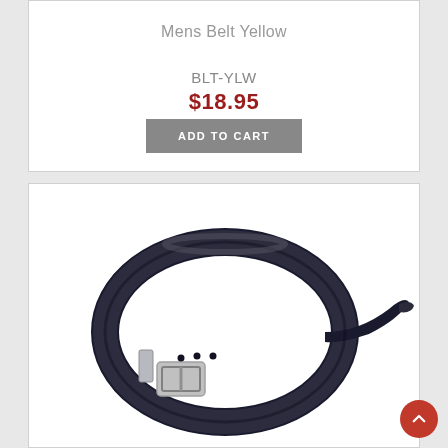Mens Belt Yellow
BLT-YLW
$18.95
ADD TO CART
[Figure (photo): A black leather men's belt coiled in a circular shape with a silver rectangular buckle, shown on white background.]